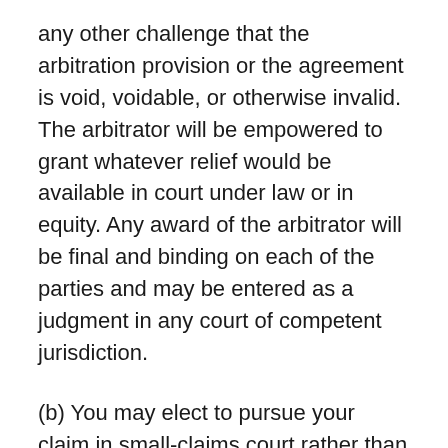any other challenge that the arbitration provision or the agreement is void, voidable, or otherwise invalid. The arbitrator will be empowered to grant whatever relief would be available in court under law or in equity. Any award of the arbitrator will be final and binding on each of the parties and may be entered as a judgment in any court of competent jurisdiction.
(b) You may elect to pursue your claim in small-claims court rather than arbitration if you provide us with written notice of your intention do so within 60 days of your purchase. The arbitration or small-claims court proceeding will be limited solely to your individual dispute